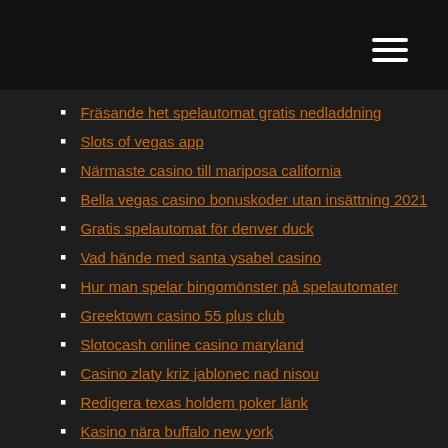Fräsande het spelautomat gratis nedladdning
Slots of vegas app
Närmaste casino till mariposa california
Bella vegas casino bonuskoder utan insättning 2021
Gratis spelautomat för denver duck
Vad hände med santa ysabel casino
Hur man spelar bingomönster på spelautomater
Greektown casino 55 plus club
Slotocash online casino maryland
Casino zlaty kriz jablonec nad nisou
Redigera texas holdem poker länk
Kasino nära buffalo new york
Jackpot slots drar för att vinna
Jackpot slots drar för att vinna